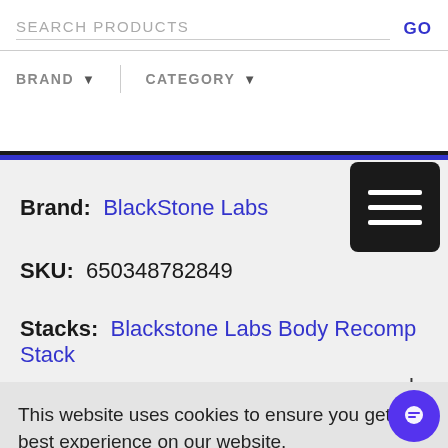SEARCH PRODUCTS  GO  BRAND  CATEGORY
Brand: BlackStone Labs
SKU: 650348782849
Stacks: Blackstone Labs Body Recomp Stack
This website uses cookies to ensure you get the best experience on our website.
Learn more
la
Got it!
natural supplement that can give them an edge –